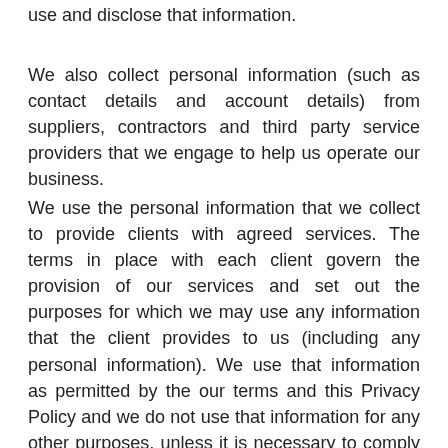use and disclose that information.
We also collect personal information (such as contact details and account details) from suppliers, contractors and third party service providers that we engage to help us operate our business.
We use the personal information that we collect to provide clients with agreed services. The terms in place with each client govern the provision of our services and set out the purposes for which we may use any information that the client provides to us (including any personal information). We use that information as permitted by the our terms and this Privacy Policy and we do not use that information for any other purposes, unless it is necessary to comply with a legal or professional right or duty.  We may also use personal information to protect the rights of us or to comply with a legal or professional right or duty.